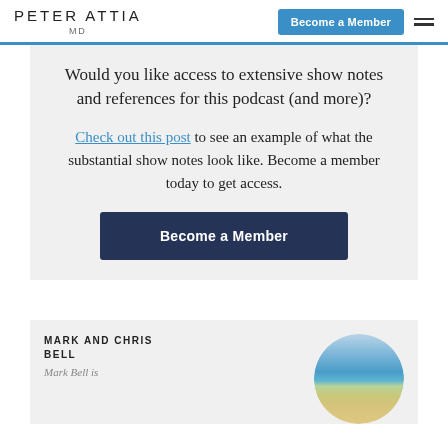PETER ATTIA MD
Would you like access to extensive show notes and references for this podcast (and more)?
Check out this post to see an example of what the substantial show notes look like. Become a member today to get access.
Become a Member
MARK AND CHRIS BELL